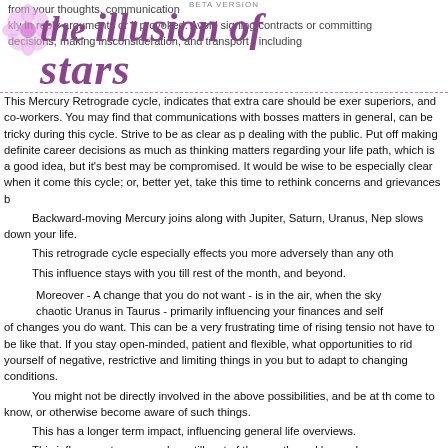BETA VERSION - The Illusion of Stars
quickly in reply arguments or if provoked. Avoid signing contracts or comitting decisions, making insconsideration, and transport - including
This Mercury Retrograde cycle, indicates that extra care should be exercised with superiors, and co-workers. You may find that communications with bosses matters in general, can be tricky during this cycle. Strive to be as clear as possible dealing with the public. Put off making definite career decisions as much as thinking matters regarding your life path, which is a good idea, but it's best may be compromised. It would be wise to be especially clear when it comes this cycle; or, better yet, take this time to rethink concerns and grievances b
Backward-moving Mercury joins along with Jupiter, Saturn, Uranus, Neptune slows down your life.
This retrograde cycle especially effects you more adversely than any other
This influence stays with you till rest of the month, and beyond.
Moreover - A change that you do not want - is in the air, when the sky chaotic Uranus in Taurus - primarily influencing your finances and self of changes you do want. This can be a very frustrating time of rising tension not have to be like that. If you stay open-minded, patient and flexible, what opportunities to rid yourself of negative, restrictive and limiting things in your but to adapt to changing conditions.
You might not be directly involved in the above possibilities, and be at the come to know, or otherwise become aware of such things.
This has a longer term impact, influencing general life overviews.
This influence stays around you till rest of the month, and beyond.
15th September: Relationship difficulties, anger, lack of self control, and impulsiveness